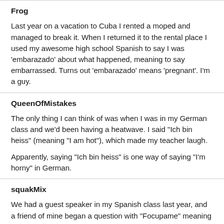Frog
Last year on a vacation to Cuba I rented a moped and managed to break it. When I returned it to the rental place I used my awesome high school Spanish to say I was 'embarazado' about what happened, meaning to say embarrassed. Turns out 'embarazado' means 'pregnant'. I'm a guy.
QueenOfMistakes
The only thing I can think of was when I was in my German class and we'd been having a heatwave. I said "Ich bin heiss" (meaning "I am hot"), which made my teacher laugh.
Apparently, saying "Ich bin heiss" is one way of saying "I'm horny" in German.
squakMix
We had a guest speaker in my Spanish class last year, and a friend of mine began a question with "Focupame" meaning "you spit on...